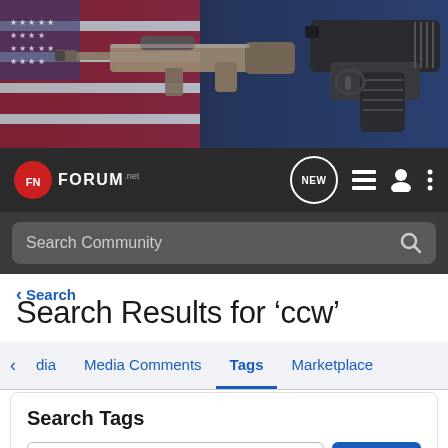[Figure (screenshot): Hero banner showing rifles and handguns against an American flag background]
FN FORUM.net — navigation bar with NEW chat icon, menu icon, profile icon, and more icon
Search Community
< Search
Search Results for ‘ccw’
< dia   Media Comments   Tags   Marketplace
Search Tags
✕ ccw   Search